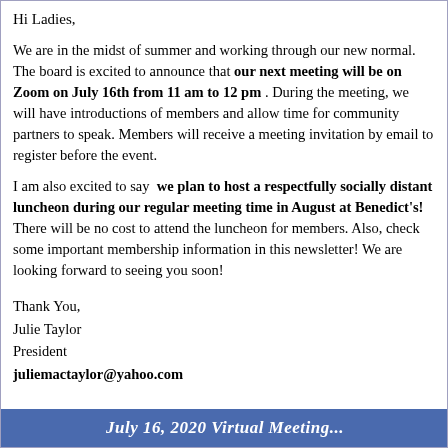Hi Ladies,
We are in the midst of summer and working through our new normal. The board is excited to announce that our next meeting will be on Zoom on July 16th from 11 am to 12 pm . During the meeting, we will have introductions of members and allow time for community partners to speak. Members will receive a meeting invitation by email to register before the event.
I am also excited to say  we plan to host a respectfully socially distant luncheon during our regular meeting time in August at Benedict's!  There will be no cost to attend the luncheon for members. Also, check some important membership information in this newsletter! We are looking forward to seeing you soon!
Thank You,
Julie Taylor
President
juliemactaylor@yahoo.com
July 16, 2020 Virtual Meeting...